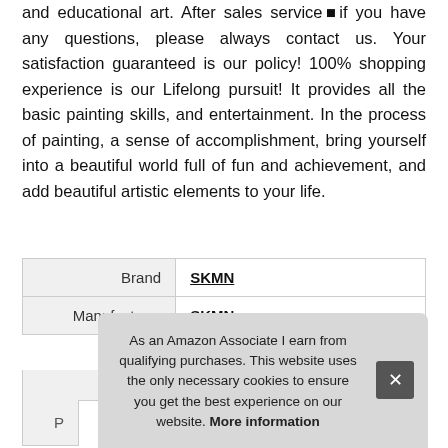and educational art. After sales service—if you have any questions, please always contact us. Your satisfaction guaranteed is our policy! 100% shopping experience is our Lifelong pursuit! It provides all the basic painting skills, and entertainment. In the process of painting, a sense of accomplishment, bring yourself into a beautiful world full of fun and achievement, and add beautiful artistic elements to your life.
|  |  |
| --- | --- |
| Brand | SKMN |
| Manufacturer | SKMN |
As an Amazon Associate I earn from qualifying purchases. This website uses the only necessary cookies to ensure you get the best experience on our website. More information